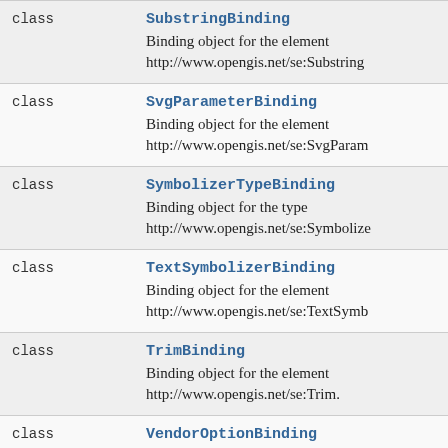| Type | Name / Description |
| --- | --- |
| class | SubstringBinding
Binding object for the element http://www.opengis.net/se:Substring |
| class | SvgParameterBinding
Binding object for the element http://www.opengis.net/se:SvgParam |
| class | SymbolizerTypeBinding
Binding object for the type http://www.opengis.net/se:Symbolize |
| class | TextSymbolizerBinding
Binding object for the element http://www.opengis.net/se:TextSymb |
| class | TrimBinding
Binding object for the element http://www.opengis.net/se:Trim. |
| class | VendorOptionBinding
Binding object for the element http://www.opengis.net/se:VendorOp |